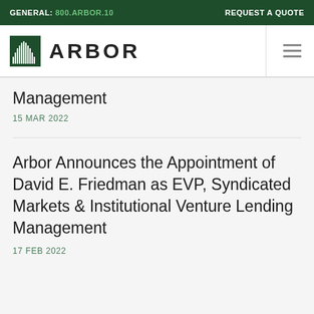GENERAL: 800.ARBOR.10    REQUEST A QUOTE
[Figure (logo): Arbor logo with tree barcode icon and ARBOR wordmark]
...Management
15 MAR 2022
Arbor Announces the Appointment of David E. Friedman as EVP, Syndicated Markets & Institutional Venture Lending Management
17 FEB 2022